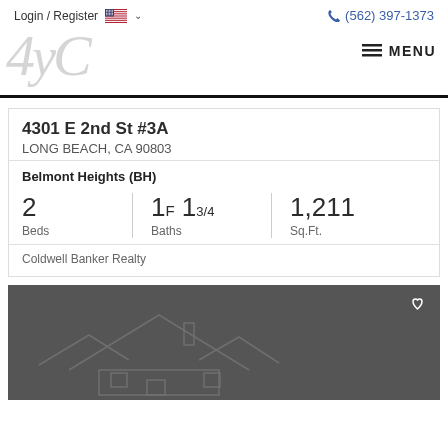Login / Register  (562) 397-1373
[Figure (logo): 4yC real estate logo in light gray italic script]
4301 E 2nd St #3A
LONG BEACH, CA 90803
Belmont Heights (BH)
| Beds | Baths | Sq.Ft. |
| --- | --- | --- |
| 2 | 1F 13/4 | 1,211 |
Coldwell Banker Realty
[Figure (illustration): Dark gray placeholder image with faint house/home silhouette outline and heart icon in upper right]